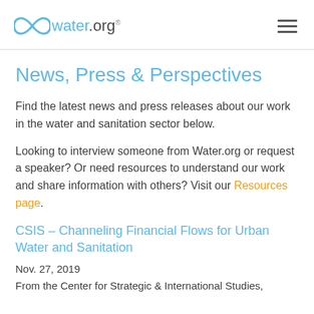water.org
News, Press & Perspectives
Find the latest news and press releases about our work in the water and sanitation sector below.
Looking to interview someone from Water.org or request a speaker? Or need resources to understand our work and share information with others? Visit our Resources page.
CSIS - Channeling Financial Flows for Urban Water and Sanitation
Nov. 27, 2019
From the Center for Strategic & International Studies,